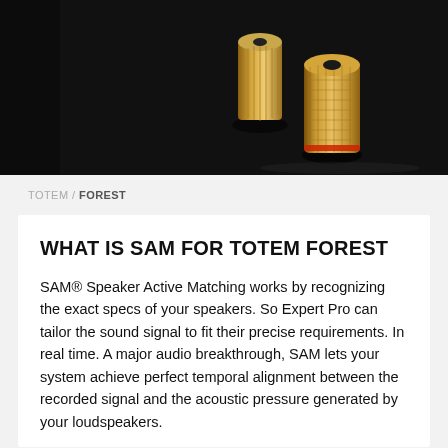[Figure (photo): Close-up photo of gold-colored speaker binding posts/terminals on a dark background. The metallic connectors appear to be high-end audio equipment binding posts with knurled cylindrical caps.]
TOTEM / FOREST
WHAT IS SAM FOR TOTEM FOREST
SAM® Speaker Active Matching works by recognizing the exact specs of your speakers. So Expert Pro can tailor the sound signal to fit their precise requirements. In real time. A major audio breakthrough, SAM lets your system achieve perfect temporal alignment between the recorded signal and the acoustic pressure generated by your loudspeakers.